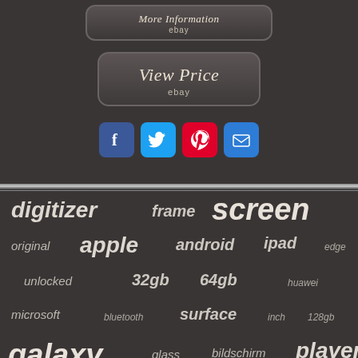[Figure (screenshot): Button labeled 'More Information' with 'ebay' underneath, rounded rectangle style on dark background]
[Figure (screenshot): Button labeled 'View Price' with 'ebay' underneath, rounded rectangle style on dark background]
[Figure (infographic): Social sharing icons: Facebook (blue), Twitter (blue), Pinterest (red), Email (blue)]
[Figure (infographic): Tag cloud with words: digitizer, frame, screen, original, apple, android, ipad, edge, unlocked, 32gb, 64gb, huawei, microsoft, bluetooth, surface, inch, 128gb, galaxy, glass, bildschirm, player, assembly, samsung, oled]